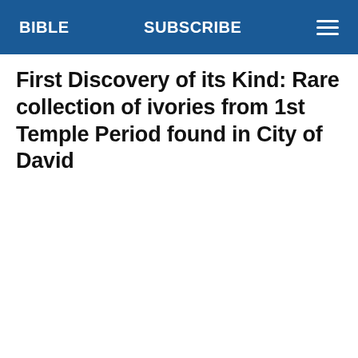BIBLE   SUBSCRIBE
First Discovery of its Kind: Rare collection of ivories from 1st Temple Period found in City of David
Muqtada al-Sadr Retires: What Next in Iraq?